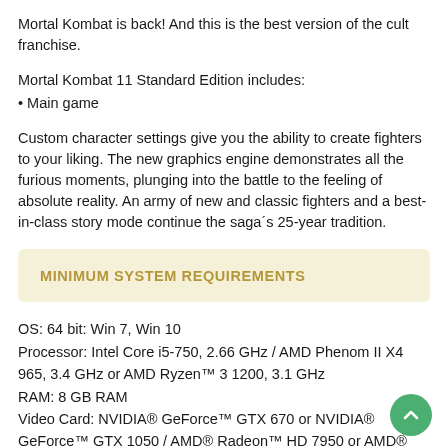Mortal Kombat is back! And this is the best version of the cult franchise.
Mortal Kombat 11 Standard Edition includes:
• Main game
Custom character settings give you the ability to create fighters to your liking. The new graphics engine demonstrates all the furious moments, plunging into the battle to the feeling of absolute reality. An army of new and classic fighters and a best-in-class story mode continue the saga´s 25-year tradition.
MINIMUM SYSTEM REQUIREMENTS
OS: 64 bit: Win 7, Win 10
Processor: Intel Core i5-750, 2.66 GHz / AMD Phenom II X4 965, 3.4 GHz or AMD Ryzen™ 3 1200, 3.1 GHz
RAM: 8 GB RAM
Video Card: NVIDIA® GeForce™ GTX 670 or NVIDIA® GeForce™ GTX 1050 / AMD® Radeon™ HD 7950 or AMD® Radeon™ R9 270
DirectX: Version 11
Activation: